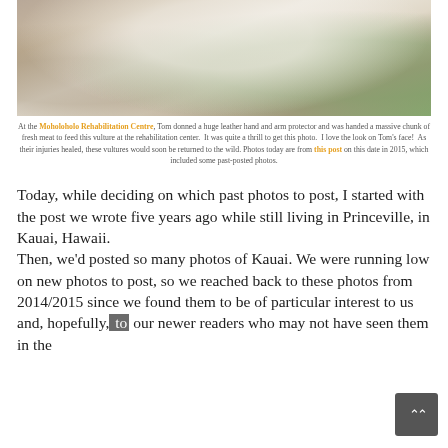[Figure (photo): A person wearing a white long-sleeve shirt standing outdoors near trees and greenery, holding or feeding a vulture at a rehabilitation centre.]
At the Moholoholo Rehabilitation Centre, Tom donned a huge leather hand and arm protector and was handed a massive chunk of fresh meat to feed this vulture at the rehabilitation center. It was quite a thrill to get this photo. I love the look on Tom's face! As their injuries healed, these vultures would soon be returned to the wild. Photos today are from this post on this date in 2015, which included some past-posted photos.
Today, while deciding on which past photos to post, I started with the post we wrote five years ago while still living in Princeville, in Kauai, Hawaii.
Then, we'd posted so many photos of Kauai. We were running low on new photos to post, so we reached back to these photos from 2014/2015 since we found them to be of particular interest to us and, hopefully, to our newer readers who may not have seen them in the